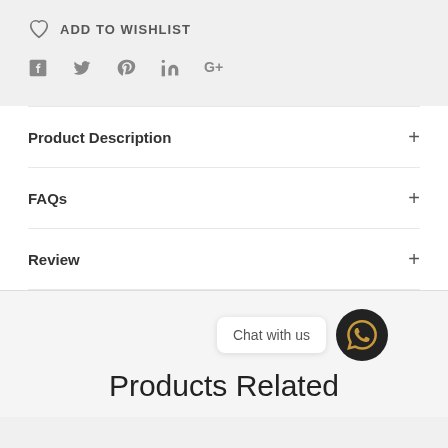ADD TO WISHLIST
[Figure (infographic): Social media icons row: Facebook, Twitter, Pinterest, LinkedIn, Google+]
Product Description +
FAQs +
Review +
Chat with us
Products Related